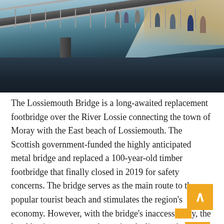[Figure (photo): Aerial/elevated view of the Lossiemouth Bridge, a metal footbridge over the River Lossie, with people walking across it. Sandy beach visible on the right, dark river water below, taken on an overcast day.]
The Lossiemouth Bridge is a long-awaited replacement footbridge over the River Lossie connecting the town of Moray with the East beach of Lossiemouth. The Scottish government-funded the highly anticipated metal bridge and replaced a 100-year-old timber footbridge that finally closed in 2019 for safety concerns. The bridge serves as the main route to the popular tourist beach and stimulates the region's economy. However, with the bridge's inaccessibility, the local businesses reported massive declines as the bridge averaged 4,000 visitors in the summer.